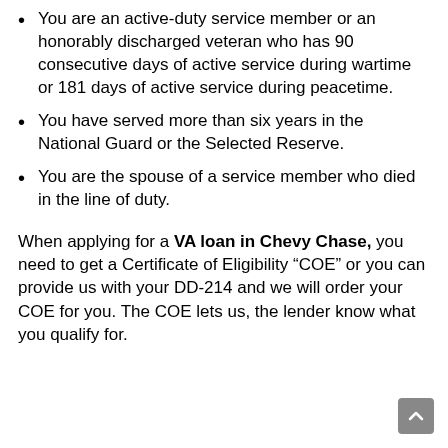You are an active-duty service member or an honorably discharged veteran who has 90 consecutive days of active service during wartime or 181 days of active service during peacetime.
You have served more than six years in the National Guard or the Selected Reserve.
You are the spouse of a service member who died in the line of duty.
When applying for a VA loan in Chevy Chase, you need to get a Certificate of Eligibility “COE” or you can provide us with your DD-214 and we will order your COE for you. The COE lets us, the lender know what you qualify for.